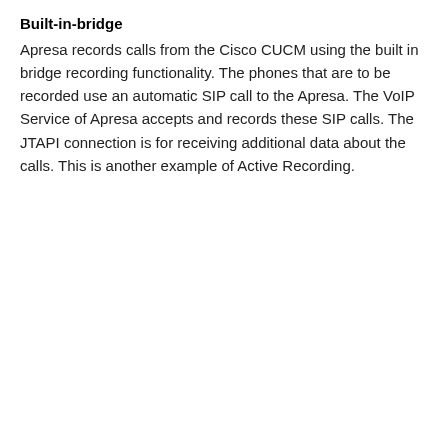Built-in-bridge
Apresa records calls from the Cisco CUCM using the built in bridge recording functionality. The phones that are to be recorded use an automatic SIP call to the Apresa. The VoIP Service of Apresa accepts and records these SIP calls. The JTAPI connection is for receiving additional data about the calls. This is another example of Active Recording.